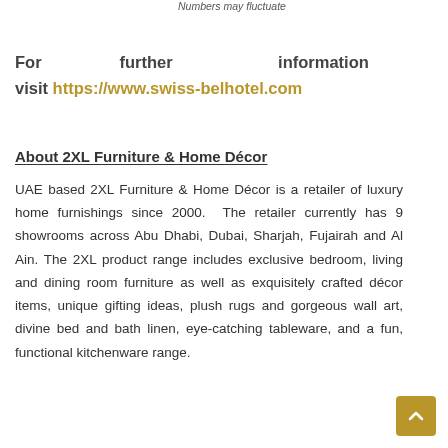Numbers may fluctuate
For further information visit https://www.swiss-belhotel.com
About 2XL Furniture & Home Décor
UAE based 2XL Furniture & Home Décor is a retailer of luxury home furnishings since 2000. The retailer currently has 9 showrooms across Abu Dhabi, Dubai, Sharjah, Fujairah and Al Ain. The 2XL product range includes exclusive bedroom, living and dining room furniture as well as exquisitely crafted décor items, unique gifting ideas, plush rugs and gorgeous wall art, divine bed and bath linen, eye-catching tableware, and a fun, functional kitchenware range.